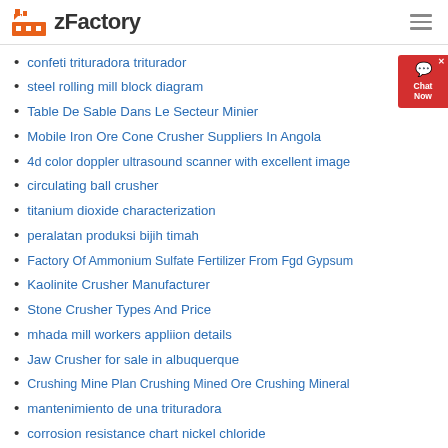zFactory
confeti trituradora triturador
steel rolling mill block diagram
Table De Sable Dans Le Secteur Minier
Mobile Iron Ore Cone Crusher Suppliers In Angola
4d color doppler ultrasound scanner with excellent image
circulating ball crusher
titanium dioxide characterization
peralatan produksi bijih timah
Factory Of Ammonium Sulfate Fertilizer From Fgd Gypsum
Kaolinite Crusher Manufacturer
Stone Crusher Types And Price
mhada mill workers appliion details
Jaw Crusher for sale in albuquerque
Crushing Mine Plan Crushing Mined Ore Crushing Mineral
mantenimiento de una trituradora
corrosion resistance chart nickel chloride
mass balance for the crusher in cement plant
Vertical Roller Lum